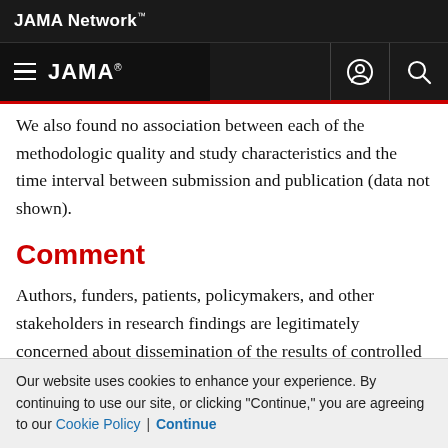JAMA Network
JAMA
We also found no association between each of the methodologic quality and study characteristics and the time interval between submission and publication (data not shown).
Comment
Authors, funders, patients, policymakers, and other stakeholders in research findings are legitimately concerned about dissemination of the results of controlled trials as quickly as possible. Several initiatives are underway to shorten the time interval between study completion to publication and from submission to publication. For example, many journals
Our website uses cookies to enhance your experience. By continuing to use our site, or clicking "Continue," you are agreeing to our Cookie Policy | Continue